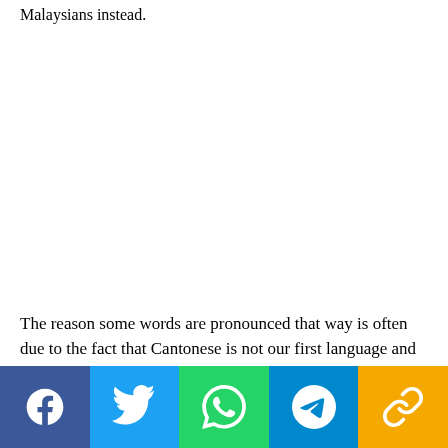Malaysians instead.
The reason some words are pronounced that way is often due to the fact that Cantonese is not our first language and hence, our pronunciation has been influenced by
[Figure (other): Social media share bar with Facebook, Twitter, WhatsApp, Telegram, and Link buttons]